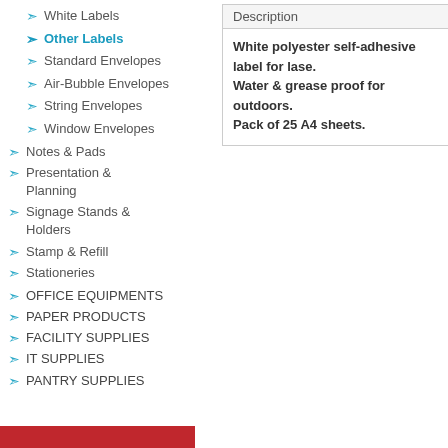White Labels
Other Labels
Standard Envelopes
Air-Bubble Envelopes
String Envelopes
Window Envelopes
Notes & Pads
Presentation & Planning
Signage Stands & Holders
Stamp & Refill
Stationeries
OFFICE EQUIPMENTS
PAPER PRODUCTS
FACILITY SUPPLIES
IT SUPPLIES
PANTRY SUPPLIES
Description
White polyester self-adhesive label for lase. Water & grease proof for outdoors. Pack of 25 A4 sheets.